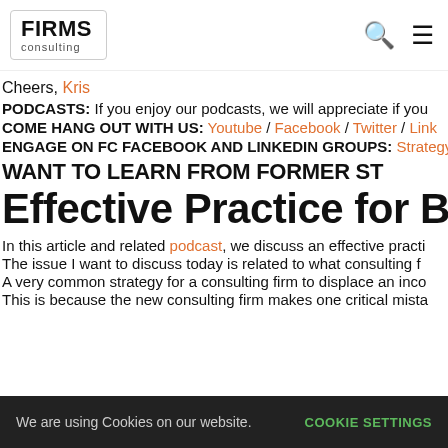FIRMS consulting
Cheers, Kris
PODCASTS: If you enjoy our podcasts, we will appreciate if you
COME HANG OUT WITH US: Youtube / Facebook / Twitter / Link
ENGAGE ON FC FACEBOOK AND LINKEDIN GROUPS: Strategy S
WANT TO LEARN FROM FORMER ST
Effective Practice for Buil
In this article and related podcast, we discuss an effective practi
The issue I want to discuss today is related to what consulting f
A very common strategy for a consulting firm to displace an inco
This is because the new consulting firm makes one critical mista
We are using Cookies on our website. COOKIE SETTINGS